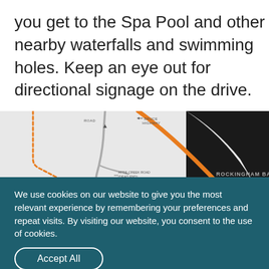you get to the Spa Pool and other nearby waterfalls and swimming holes. Keep an eye out for directional signage on the drive.
[Figure (map): A road map showing the route to Cardwell Spa Pool and Cardwell, with Rockingham Bay visible on the right side. Orange dotted and solid lines show roads, with labels including ROAD, BRUCE HIGHWAY, ATTIE CREEK ROAD (DEAD END), CARDWELL SPA POOL marker, CARDWELL FOREST RESERVE 2, and CARDWELL with icons.]
We use cookies on our website to give you the most relevant experience by remembering your preferences and repeat visits. By visiting our website, you consent to the use of cookies.
Accept All